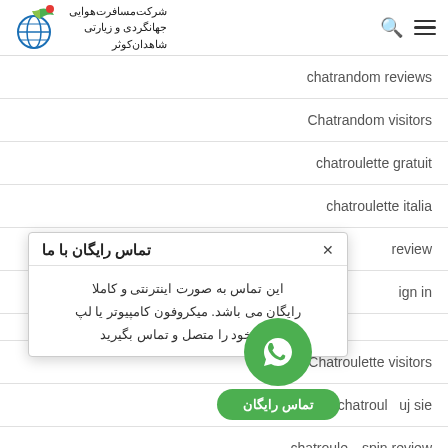شرکت مسافرت هوایی جهانگردی و زیارتی شاهدان کوثر
chatrandom reviews
Chatrandom visitors
chatroulette gratuit
chatroulette italia
[Figure (screenshot): Popup dialog titled 'تماس رایگان با ما' (Free contact with us) in Persian, with body text explaining the free internet-based contact service and microphone instructions. Includes a WhatsApp green circle button and a 'تماس رایگان' (Free contact) green pill button.]
Chatroulette visitors
chatroulette ... uj sie
... spin review